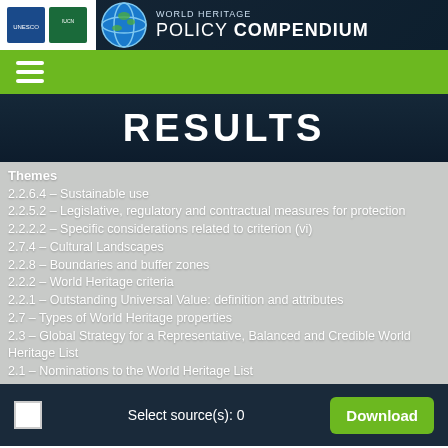World Heritage Policy Compendium
RESULTS
Themes
2.2.6.4 – Sustainable use
2.2.5.2 – Legislative, regulatory and contractual measures for protection
2.2.2.2 – Specific considerations related to criterion (vi)
2.7.4 – Cultural Landscapes
2.2.8 – Boundaries and buffer zones
2.2.2 – World Heritage criteria
2.2.1 – Outstanding Universal Value: definition and attributes
2.7 – Types of World Heritage properties
2.3 – Global Strategy for a Representative, Balanced and Credible World Heritage List
2.1 – Nominations to the World Heritage List
Select source(s): 0   Download